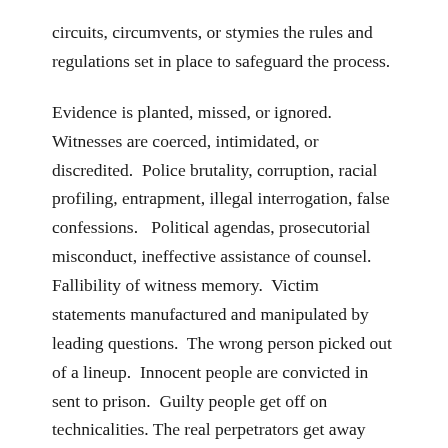circuits, circumvents, or stymies the rules and regulations set in place to safeguard the process.
Evidence is planted, missed, or ignored.  Witnesses are coerced, intimidated, or discredited.  Police brutality, corruption, racial profiling, entrapment, illegal interrogation, false confessions.   Political agendas, prosecutorial misconduct, ineffective assistance of counsel.  Fallibility of witness memory.  Victim statements manufactured and manipulated by leading questions.  The wrong person picked out of a lineup.  Innocent people are convicted in sent to prison.  Guilty people get off on technicalities. The real perpetrators get away with murder even.
Humans with their prerogatives and passions; their